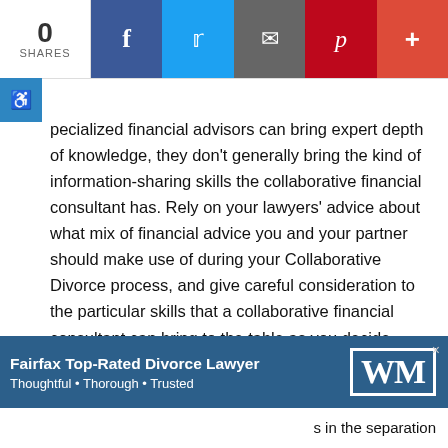0 SHARES | [Facebook] [Twitter] [Email] [Pinterest] [+]
pecialized financial advisors can bring expert depth of knowledge, they don't generally bring the kind of information-sharing skills the collaborative financial consultant has. Rely on your lawyers' advice about what mix of financial advice you and your partner should make use of during your Collaborative Divorce process, and give careful consideration to the particular skills that a collaborative financial consultant can bring to the table as you decide.
4. The child specialist
s in the separation